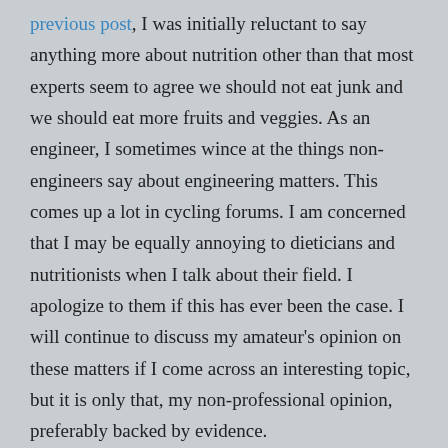previous post, I was initially reluctant to say anything more about nutrition other than that most experts seem to agree we should not eat junk and we should eat more fruits and veggies. As an engineer, I sometimes wince at the things non-engineers say about engineering matters. This comes up a lot in cycling forums. I am concerned that I may be equally annoying to dieticians and nutritionists when I talk about their field. I apologize to them if this has ever been the case. I will continue to discuss my amateur's opinion on these matters if I come across an interesting topic, but it is only that, my non-professional opinion, preferably backed by evidence.
Manav's site looks like it will be interesting and useful. He is a chef with concerns about cooking for good